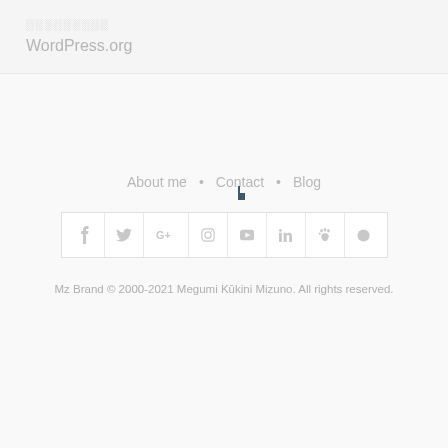░░░░░░░░░
WordPress.org
About me • Contact • Blog
[Figure (other): Social media icon bar with Facebook, Twitter, Google+, Instagram, YouTube, LinkedIn, and two other icons]
Mz Brand © 2000-2021 Megumi Kūkini Mizuno. All rights reserved.